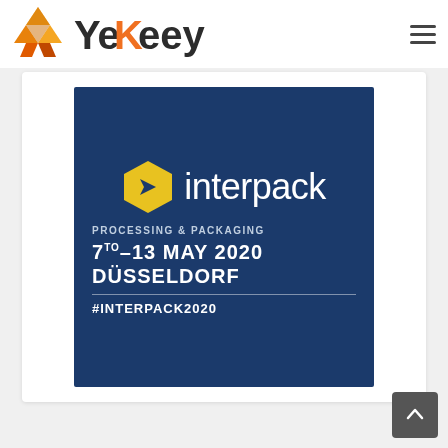YeKeey
[Figure (logo): YeKeey company logo with orange geometric symbol and dark text]
[Figure (illustration): Interpack trade show promotional image — blue background with yellow hexagon logo, text: interpack, PROCESSING & PACKAGING, 7 to 13 MAY 2020, DÜSSELDORF, #INTERPACK2020]